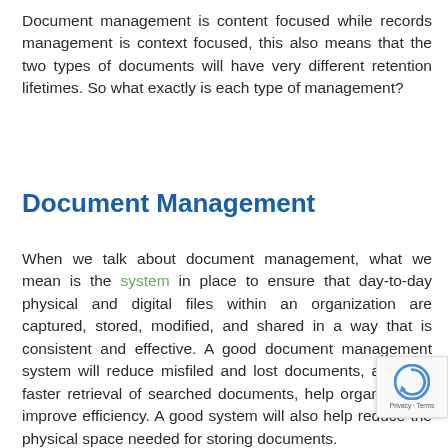Document management is content focused while records management is context focused, this also means that the two types of documents will have very different retention lifetimes. So what exactly is each type of management?
Document Management
When we talk about document management, what we mean is the system in place to ensure that day-to-day physical and digital files within an organization are captured, stored, modified, and shared in a way that is consistent and effective. A good document management system will reduce misfiled and lost documents, allow for faster retrieval of searched documents, help organize and improve efficiency. A good system will also help reduce the physical space needed for storing documents.